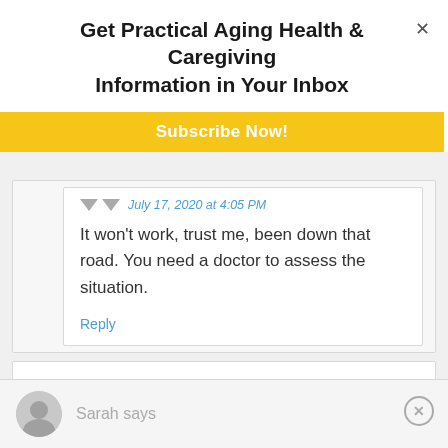Get Practical Aging Health & Caregiving Information in Your Inbox
Subscribe Now!
July 17, 2020 at 4:05 PM
It won't work, trust me, been down that road. You need a doctor to assess the situation.
Reply
Sarah says